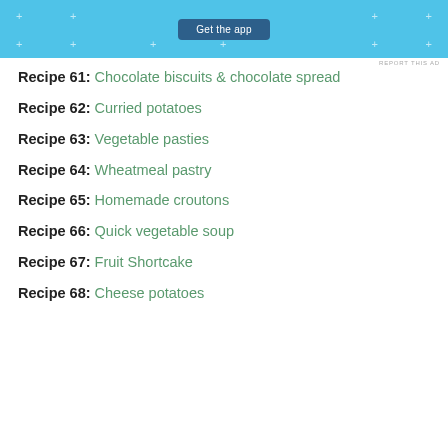[Figure (screenshot): Blue app advertisement banner with 'Get the app' button and decorative plus signs]
REPORT THIS AD
Recipe 61: Chocolate biscuits & chocolate spread
Recipe 62: Curried potatoes
Recipe 63: Vegetable pasties
Recipe 64: Wheatmeal pastry
Recipe 65: Homemade croutons
Recipe 66: Quick vegetable soup
Recipe 67: Fruit Shortcake
Recipe 68: Cheese potatoes